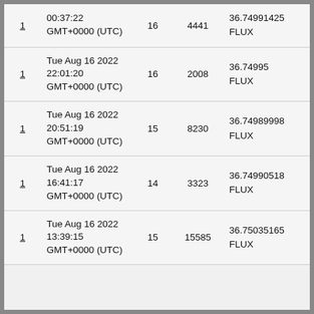| 1 | 00:37:22 GMT+0000 (UTC) | 16 | 4441 | 36.74991425 FLUX |
| 1 | Tue Aug 16 2022 22:01:20 GMT+0000 (UTC) | 16 | 2008 | 36.74995 FLUX |
| 1 | Tue Aug 16 2022 20:51:19 GMT+0000 (UTC) | 15 | 8230 | 36.74989998 FLUX |
| 1 | Tue Aug 16 2022 16:41:17 GMT+0000 (UTC) | 14 | 3323 | 36.74990518 FLUX |
| 1 | Tue Aug 16 2022 13:39:15 GMT+0000 (UTC) | 15 | 15585 | 36.75035165 FLUX |